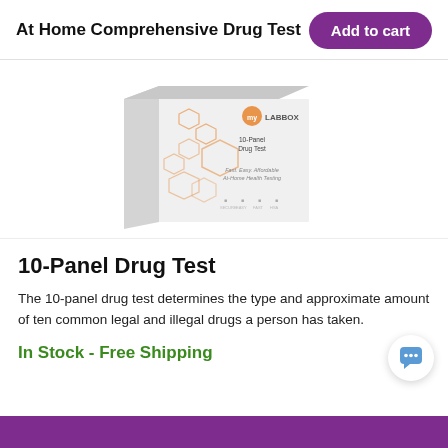At Home Comprehensive Drug Test
[Figure (photo): myLABBOX 10-Panel Drug Test product box with orange hexagonal pattern design. Text on box reads: 10-Panel Drug Test, Fast, Easy, Affordable At-Home Health Testing]
10-Panel Drug Test
The 10-panel drug test determines the type and approximate amount of ten common legal and illegal drugs a person has taken.
In Stock - Free Shipping